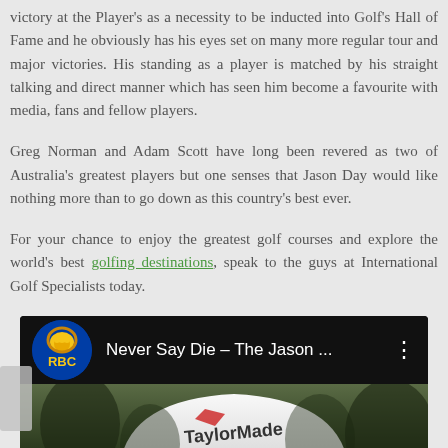victory at the Player's as a necessity to be inducted into Golf's Hall of Fame and he obviously has his eyes set on many more regular tour and major victories. His standing as a player is matched by his straight talking and direct manner which has seen him become a favourite with media, fans and fellow players.
Greg Norman and Adam Scott have long been revered as two of Australia's greatest players but one senses that Jason Day would like nothing more than to go down as this country's best ever.
For your chance to enjoy the greatest golf courses and explore the world's best golfing destinations, speak to the guys at International Golf Specialists today.
[Figure (screenshot): YouTube video embed showing 'Never Say Die – The Jason ...' with RBC logo thumbnail, and a partial view of a TaylorMade hat below.]